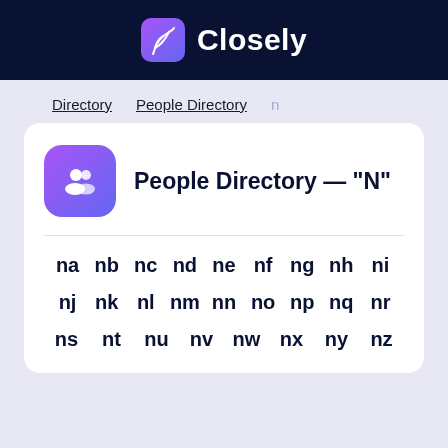Closely
Directory  People Directory  n
People Directory — "N"
na nb nc nd ne nf ng nh ni
nj nk nl nm nn no np nq nr
ns nt nu nv nw nx ny nz